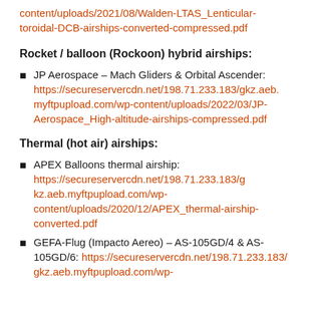content/uploads/2021/08/Walden-LTAS_Lenticular-toroidal-DCB-airships-converted-compressed.pdf
Rocket / balloon (Rockoon) hybrid airships:
JP Aerospace – Mach Gliders & Orbital Ascender: https://secureservercdn.net/198.71.233.183/gkz.aeb.myftpupload.com/wp-content/uploads/2022/03/JP-Aerospace_High-altitude-airships-compressed.pdf
Thermal (hot air) airships:
APEX Balloons thermal airship: https://secureservercdn.net/198.71.233.183/gkz.aeb.myftpupload.com/wp-content/uploads/2020/12/APEX_thermal-airship-converted.pdf
GEFA-Flug (Impacto Aereo) – AS-105GD/4 & AS-105GD/6: https://secureservercdn.net/198.71.233.183/gkz.aeb.myftpupload.com/wp-